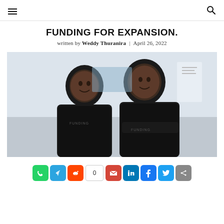Menu | Search
FUNDING FOR EXPANSION.
written by Weddy Thuranira | April 26, 2022
[Figure (photo): Two men in black t-shirts standing in an office setting, smiling at camera. The man on the left has his arms at his sides; the man on the right has his arms crossed.]
[Figure (infographic): Social share bar with icons: WhatsApp, Telegram, Reddit, share count (0), Gmail, LinkedIn, Facebook, Twitter, Share]